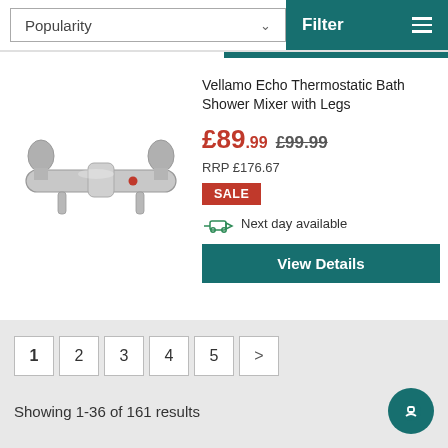Popularity
Filter
[Figure (photo): Chrome thermostatic bath shower mixer tap with legs, silver finish, with red indicator dot]
Vellamo Echo Thermostatic Bath Shower Mixer with Legs
£89.99 £99.99
RRP £176.67
SALE
Next day available
View Details
1 2 3 4 5 >
Showing 1-36 of 161 results